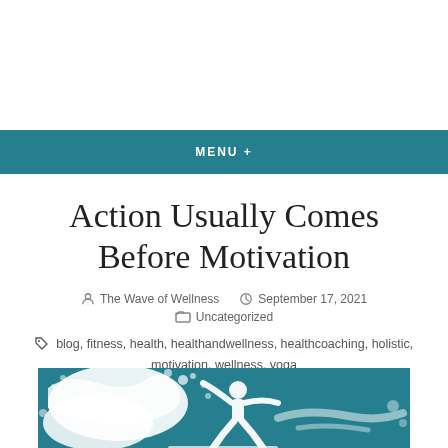MENU +
Action Usually Comes Before Motivation
The Wave of Wellness   September 17, 2021
Uncategorized
blog, fitness, health, healthandwellness, healthcoaching, holistic, motivation, wellness, yoga
[Figure (illustration): Teal/turquoise background with white paint splash silhouette of a person doing yoga or exercise pose]